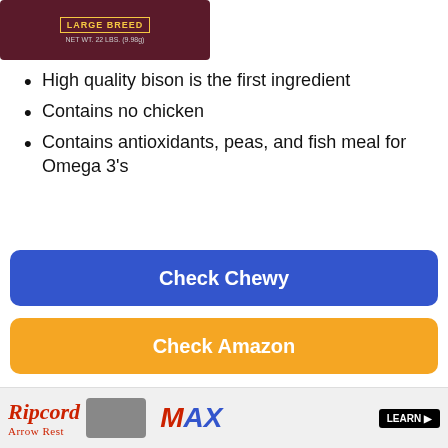[Figure (photo): Product image of a large breed dog food bag with dark maroon/purple packaging showing 'LARGE BREED' text]
High quality bison is the first ingredient
Contains no chicken
Contains antioxidants, peas, and fish meal for Omega 3's
Check Chewy
Check Amazon
5. Iams ProActive Health Healthy Aging Senior Dry Dog Food
[Figure (photo): Advertisement banner for Ripcord Arrow Rest showing logo and MAX product image with a LEARN button]